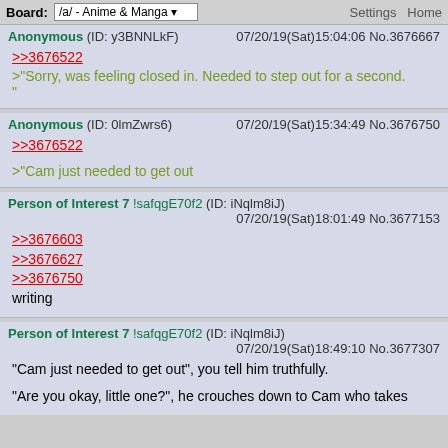Board: /a/ - Anime & Manga | Settings Home
Anonymous (ID: y3BNNLkF) 07/20/19(Sat)15:04:06 No.3676667
>>3676522
>"Sorry, was feeling closed in. Needed to step out for a second."
"
Anonymous (ID: 0lmZwrs6) 07/20/19(Sat)15:34:49 No.3676750
>>3676522
>"Cam just needed to get out
Person of Interest 7 !safqgE70f2 (ID: iNqlm8iJ) 07/20/19(Sat)18:01:49 No.3677153
>>3676603
>>3676627
>>3676750
writing
Person of Interest 7 !safqgE70f2 (ID: iNqlm8iJ) 07/20/19(Sat)18:49:10 No.3677307
"Cam just needed to get out", you tell him truthfully.

"Are you okay, little one?", he crouches down to Cam who takes